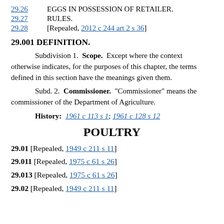29.26   EGGS IN POSSESSION OF RETAILER.
29.27   RULES.
29.28   [Repealed, 2012 c 244 art 2 s 36]
29.001 DEFINITION.
Subdivision 1. Scope. Except where the context otherwise indicates, for the purposes of this chapter, the terms defined in this section have the meanings given them.
Subd. 2. Commissioner. "Commissioner" means the commissioner of the Department of Agriculture.
History: 1961 c 113 s 1; 1961 c 128 s 12
POULTRY
29.01 [Repealed, 1949 c 211 s 11]
29.011 [Repealed, 1975 c 61 s 26]
29.013 [Repealed, 1975 c 61 s 26]
29.02 [Repealed, 1949 c 211 s 11]